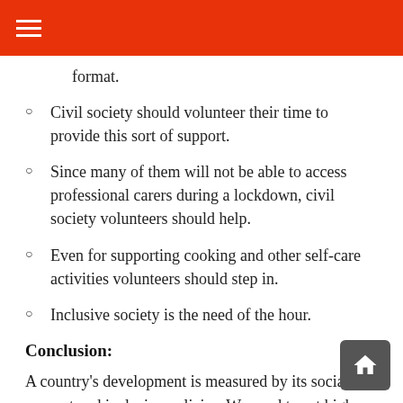format.
Civil society should volunteer their time to provide this sort of support.
Since many of them will not be able to access professional carers during a lockdown, civil society volunteers should help.
Even for supporting cooking and other self-care activities volunteers should step in.
Inclusive society is the need of the hour.
Conclusion:
A country's development is measured by its social support and inclusive policies. We need to set high